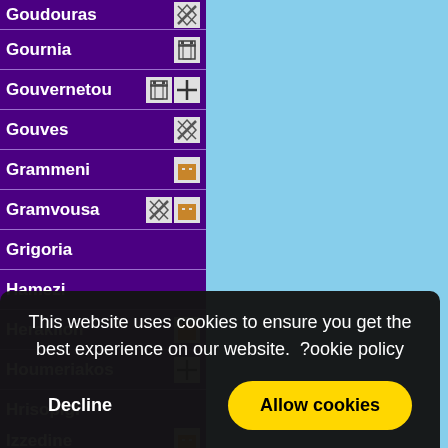Goudouras
Gournia
Gouvernetou
Gouves
Grammeni
Gramvousa
Grigoria
Hamezi
Heraklion
Houmeriakos
Hrisopigi
Izzedine
This website uses cookies to ensure you get the best experience on our website.  ?ookie policy
Decline  Allow cookies